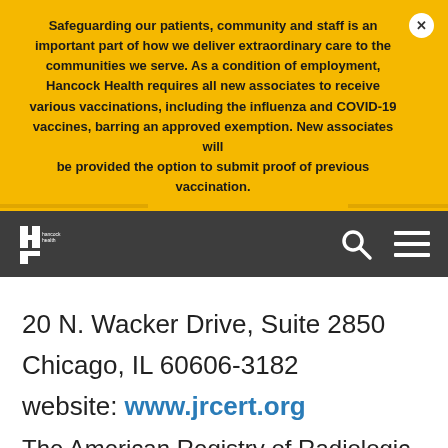Safeguarding our patients, community and staff is an important part of how we deliver extraordinary care to the communities we serve. As a condition of employment, Hancock Health requires all new associates to receive various vaccinations, including the influenza and COVID-19 vaccines, barring an approved exemption. New associates will be provided the option to submit proof of previous vaccination.
[Figure (logo): Hancock Health logo and navigation bar with search and menu icons on dark background]
20 N. Wacker Drive, Suite 2850
Chicago, IL 60606-3182
website: www.jrcert.org
The American Registry of Radiologic Technologists (ARRT) nationally certifies the school's graduates, and the school is approved by the Indiana Department of